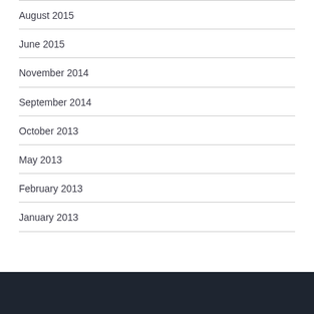August 2015
June 2015
November 2014
September 2014
October 2013
May 2013
February 2013
January 2013